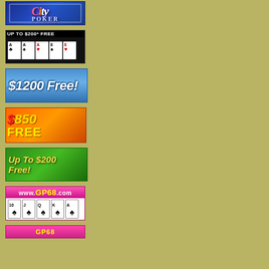[Figure (illustration): City Poker logo banner - blue background with italic stylized text 'City Poker']
[Figure (illustration): Casino banner - 'UP TO $200* FREE' text with playing cards showing aces and eights on black background]
[Figure (illustration): Casino banner - '$1200 Free!' text on blue gradient background]
[Figure (illustration): Casino banner - '$850 FREE' text on orange background with tropical theme]
[Figure (illustration): Casino banner - 'Up To $200 Free!' text on green tropical background]
[Figure (illustration): GP68.com poker banner - pink background with www.GP68.com URL and playing cards 10, J, Q, K, A of spades]
[Figure (illustration): GP68 partial banner - bottom portion visible showing GP68 text in yellow]